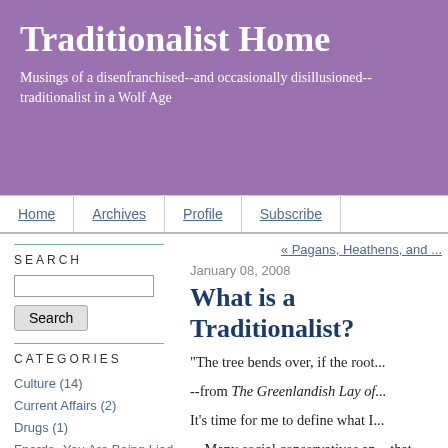Traditionalist Home
Musings of a disenfranchised--and occasionally disillusioned--traditionalist in a Wolf Age
Home | Archives | Profile | Subscribe
SEARCH
« Pagans, Heathens, and ...
January 08, 2008
What is a Traditionalist?
"The tree bends over, if the root...
--from The Greenlandish Lay of...
It's time for me to define what I...
Many social conservatives and... that "traditionalist" is equivalent... seems to believe that a traditi...
CATEGORIES
Culture (14)
Current Affairs (2)
Drugs (1)
Fnords--You Are Being Lied To (4)
Language (3)